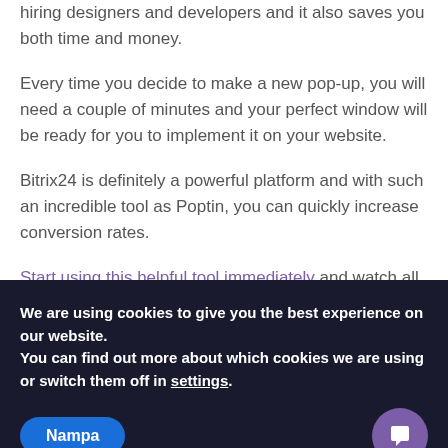hiring designers and developers and it also saves you both time and money.
Every time you decide to make a new pop-up, you will need a couple of minutes and your perfect window will be ready for you to implement it on your website.
Bitrix24 is definitely a powerful platform and with such an incredible tool as Poptin, you can quickly increase conversion rates.
Start using this helpful tool immediately and watch all
We are using cookies to give you the best experience on our website.
You can find out more about which cookies we are using or switch them off in settings.
Nampa